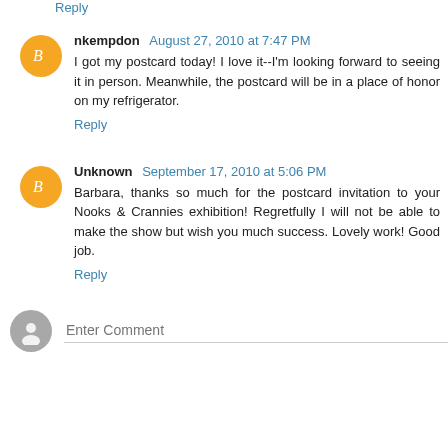Reply
nkempdon August 27, 2010 at 7:47 PM
I got my postcard today! I love it--I'm looking forward to seeing it in person. Meanwhile, the postcard will be in a place of honor on my refrigerator.
Reply
Unknown September 17, 2010 at 5:06 PM
Barbara, thanks so much for the postcard invitation to your Nooks & Crannies exhibition! Regretfully I will not be able to make the show but wish you much success. Lovely work! Good job.
Reply
Enter Comment